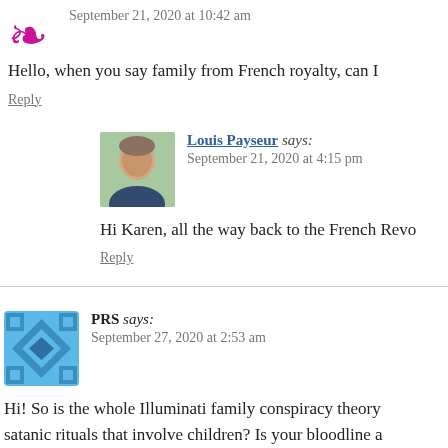September 21, 2020 at 10:42 am
Hello, when you say family from French royalty, can I
Reply
Louis Payseur says:
September 21, 2020 at 4:15 pm
Hi Karen, all the way back to the French Revo
Reply
PRS says:
September 27, 2020 at 2:53 am
Hi! So is the whole Illuminati family conspiracy theory satanic rituals that involve children? Is your bloodline a influencer? Thank you
Reply